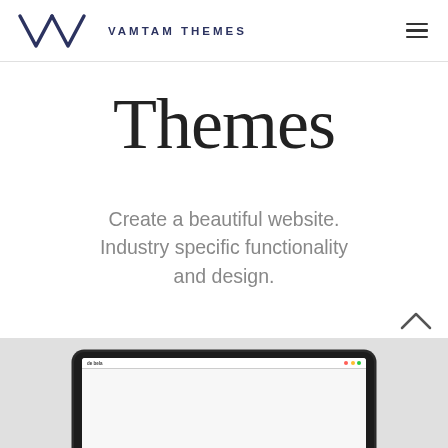VAMTAM THEMES
Themes
Create a beautiful website. Industry specific functionality and design.
[Figure (screenshot): A laptop screenshot showing a website interface with navigation bar and content area, partially visible at the bottom of the page.]